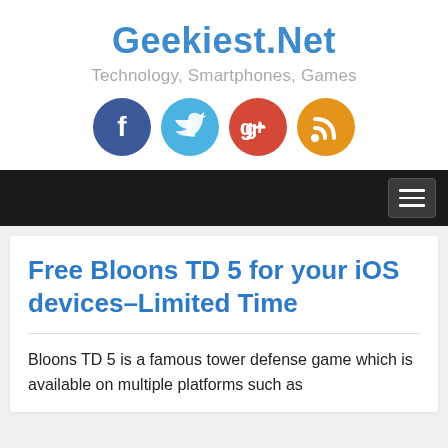Geekiest.Net
Technology, Smartphones, Games
[Figure (other): Four social media icons: Facebook (dark blue circle), Twitter (light blue circle), Google+ (red circle), RSS (orange circle)]
[Figure (other): Navigation bar with hamburger menu button on the right]
Free Bloons TD 5 for your iOS devices–Limited Time
Bloons TD 5 is a famous tower defense game which is available on multiple platforms such as